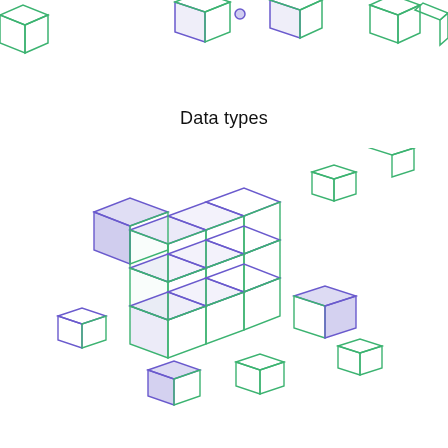[Figure (illustration): Several small 3D cube illustrations in blue-to-green gradient outline style scattered across the top of the page]
Data types
[Figure (illustration): A large arrangement of 3D cubes forming a Rubik's-cube-like cluster in the center, surrounded by smaller scattered individual cubes, all in blue-to-green gradient outline style]